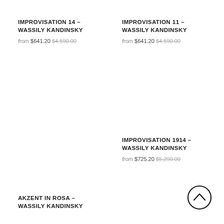IMPROVISATION 14 - WASSILY KANDINSKY
from $641.20 $4,590.00
IMPROVISATION 11 - WASSILY KANDINSKY
from $641.20 $4,590.00
IMPROVISATION 1914 - WASSILY KANDINSKY
from $725.20 $5,290.00
AKZENT IN ROSA - WASSILY KANDINSKY
[Figure (illustration): Back to top button: circle with upward chevron arrow]